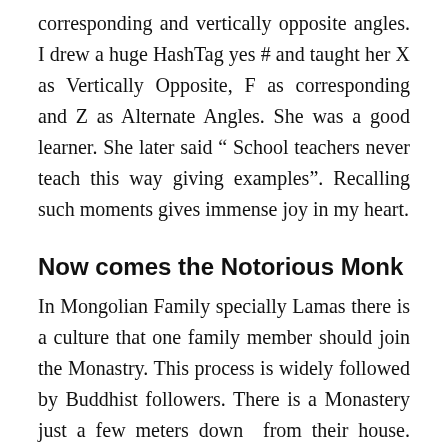corresponding and vertically opposite angles. I drew a huge HashTag yes # and taught her X as Vertically Opposite, F as corresponding and Z as Alternate Angles. She was a good learner. She later said " School teachers never teach this way giving examples". Recalling such moments gives immense joy in my heart.
Now comes the Notorious Monk
In Mongolian Family specially Lamas there is a culture that one family member should join the Monastry. This process is widely followed by Buddhist followers. There is a Monastery just a few meters down from their house. Pemba's Brother has joined the Monastery as as monk. I got to meet